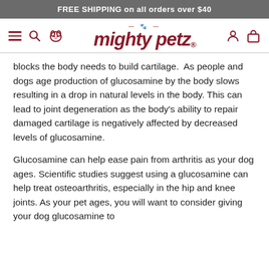FREE SHIPPING on all orders over $40
[Figure (logo): Mighty Petz logo with hamburger menu, search, dog icon on left, and user/cart icons on right]
blocks the body needs to build cartilage.  As people and dogs age production of glucosamine by the body slows resulting in a drop in natural levels in the body. This can lead to joint degeneration as the body's ability to repair damaged cartilage is negatively affected by decreased levels of glucosamine.
Glucosamine can help ease pain from arthritis as your dog ages. Scientific studies suggest using a glucosamine can help treat osteoarthritis, especially in the hip and knee joints. As your pet ages, you will want to consider giving your dog glucosamine to